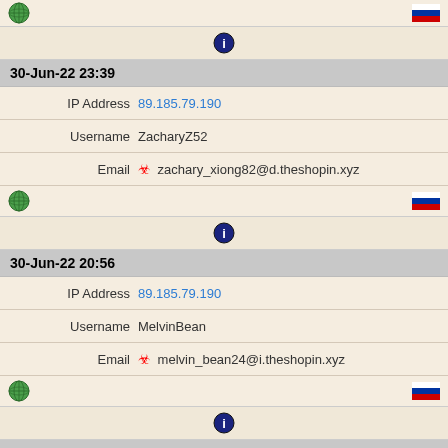[Figure (infographic): Globe icon and Russian flag icon row at top]
[Figure (infographic): Info/circle icon row]
30-Jun-22 23:39
IP Address  89.185.79.190
Username  ZacharyZ52
Email  zachary_xiong82@d.theshopin.xyz
[Figure (infographic): Globe icon and Russian flag icon row]
[Figure (infographic): Info/circle icon row]
30-Jun-22 20:56
IP Address  89.185.79.190
Username  MelvinBean
Email  melvin_bean24@i.theshopin.xyz
[Figure (infographic): Globe icon and Russian flag icon row]
[Figure (infographic): Info/circle icon row]
30-Jun-22 20:44
IP Address  89.185.79.190
Username  Latia47578